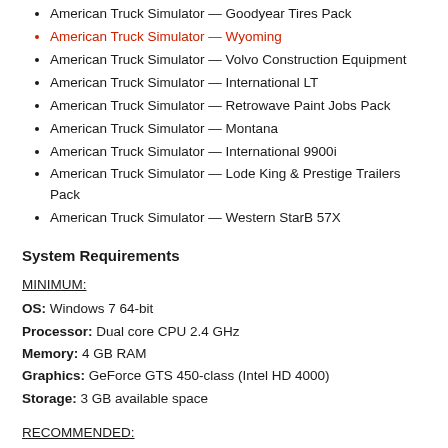American Truck Simulator — Goodyear Tires Pack
American Truck Simulator — Wyoming
American Truck Simulator — Volvo Construction Equipment
American Truck Simulator — International LT
American Truck Simulator — Retrowave Paint Jobs Pack
American Truck Simulator — Montana
American Truck Simulator — International 9900i
American Truck Simulator — Lode King & Prestige Trailers Pack
American Truck Simulator — Western StarB 57X
System Requirements
MINIMUM:
OS: Windows 7 64-bit
Processor: Dual core CPU 2.4 GHz
Memory: 4 GB RAM
Graphics: GeForce GTS 450-class (Intel HD 4000)
Storage: 3 GB available space
RECOMMENDED:
OS: Windows 7/8.1/10 64-bit
Processor: Quad core CPU 3.0 GHz